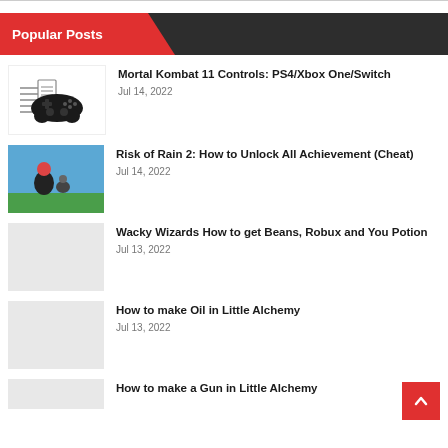Popular Posts
Mortal Kombat 11 Controls: PS4/Xbox One/Switch
Jul 14, 2022
Risk of Rain 2: How to Unlock All Achievement (Cheat)
Jul 14, 2022
Wacky Wizards How to get Beans, Robux and You Potion
Jul 13, 2022
How to make Oil in Little Alchemy
Jul 13, 2022
How to make a Gun in Little Alchemy